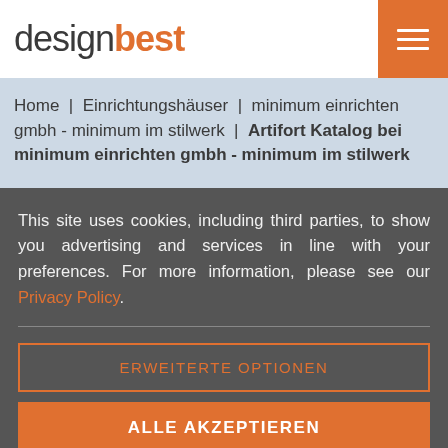designbest
Home | Einrichtungshäuser | minimum einrichten gmbh - minimum im stilwerk | Artifort Katalog bei minimum einrichten gmbh - minimum im stilwerk
This site uses cookies, including third parties, to show you advertising and services in line with your preferences. For more information, please see our Privacy Policy.
ERWEITERTE OPTIONEN
ALLE AKZEPTIEREN